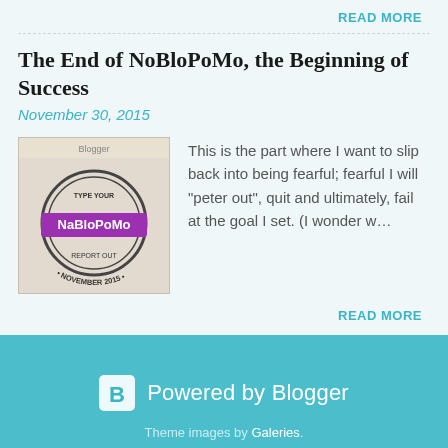READ MORE
The End of NoBloPoMo, the Beginning of Success
November 30, 2015
[Figure (photo): NaBloPoMo badge/logo for November 2015 with circular stamp design and purple ribbon]
This is the part where I want to slip back into being fearful; fearful I will "peter out", quit and ultimately, fail at the goal I set. (I wonder w…
READ MORE
Powered by Blogger
Theme images by Galeries.
© Tonya Walter 2004-2014 All Rights Reserved.